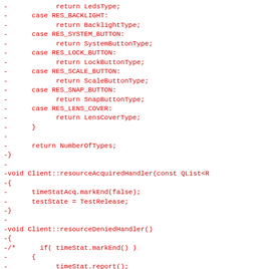Code diff showing removed lines including switch cases for RES_BACKLIGHT, RES_SYSTEM_BUTTON, RES_LOCK_BUTTON, RES_SCALE_BUTTON, RES_SNAP_BUTTON, RES_LENS_COVER, return statements, and function definitions for resourceAcquiredHandler and resourceDeniedHandler